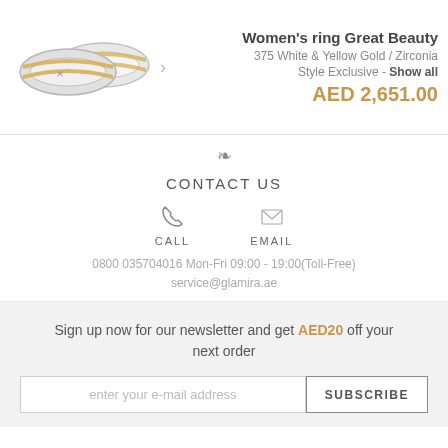[Figure (photo): Two women's rings in white and yellow gold with zirconia stones, overlapping, shown in silver/gold tones.]
Women's ring Great Beauty
375 White & Yellow Gold / Zirconia
Style Exclusive - Show all
AED 2,651.00
CONTACT US
CALL
EMAIL
0800 035704016 Mon-Fri 09:00 - 19:00(Toll-Free)
service@glamira.ae
Sign up now for our newsletter and get AED20 off your next order